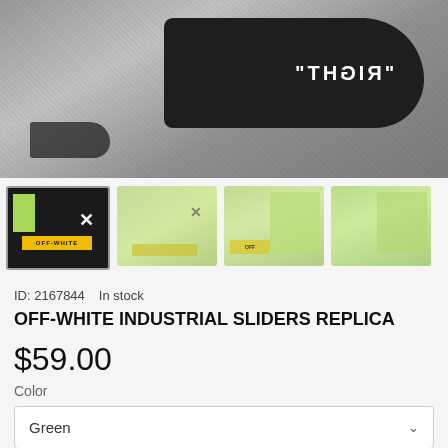[Figure (photo): Main product photo showing Off-White slider sandals in black and white/grayscale on a textured carpet background. A black slide with 'RIGHT' text visible on the footbed is shown from above.]
[Figure (photo): Four thumbnail product images showing Off-White Industrial Sliders in green colorway with yellow band branding and Off-White cross logo, displayed with green packaging box.]
ID: 2167844   In stock
OFF-WHITE INDUSTRIAL SLIDERS REPLICA
$59.00
Color
Green
Shoe Size